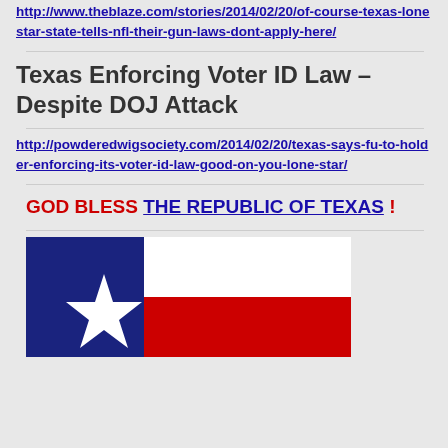http://www.theblaze.com/stories/2014/02/20/of-course-texas-lonestar-state-tells-nfl-their-gun-laws-dont-apply-here/
Texas Enforcing Voter ID Law – Despite DOJ Attack
http://powderedwigsociety.com/2014/02/20/texas-says-fu-to-holder-enforcing-its-voter-id-law-good-on-you-lone-star/
GOD BLESS THE REPUBLIC OF TEXAS !
[Figure (illustration): Texas state flag showing blue field with white star on left and red and white horizontal stripes on right]